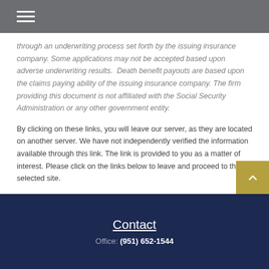Navigation header with hamburger menu
through an underwriting process set forth by the issuing insurance company. Some applications may not be accepted based upon adverse underwriting results.  Death benefit payouts are based upon the claims paying ability of the issuing insurance company. The firm providing this document is not affiliated with the Social Security Administration or any other government entity.
By clicking on these links, you will leave our server, as they are located on another server. We have not independently verified the information available through this link. The link is provided to you as a matter of interest. Please click on the links below to leave and proceed to the selected site.
[1] https://www.hud.gov/press/press_releases_media_advisories/HUD_No_20_042
Contact
Office: (951) 652-1544